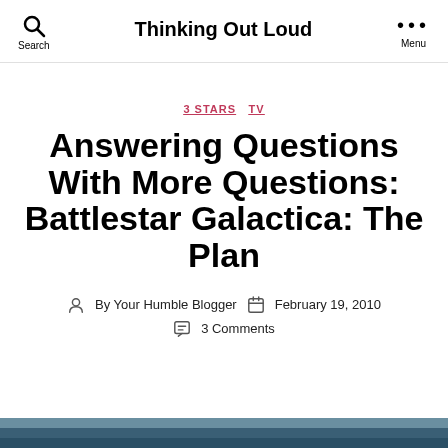Thinking Out Loud
3 STARS  TV
Answering Questions With More Questions: Battlestar Galactica: The Plan
By Your Humble Blogger  February 19, 2010  3 Comments